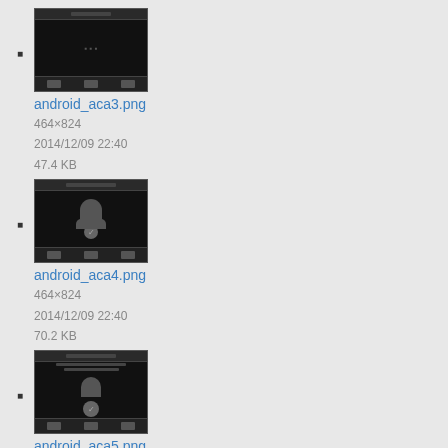android_aca3.png
464×824
2014/12/09 22:40
47.4 KB
android_aca4.png
464×824
2014/12/09 22:40
70.2 KB
android_aca5.png
1080×1920